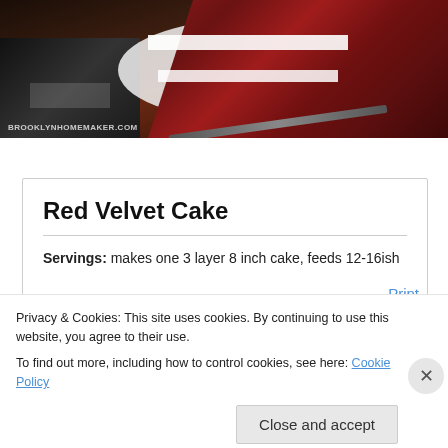[Figure (photo): A slice of red velvet cake on a white plate with a fork, black and white checkered napkin/cloth visible at left. Watermark reads 'BROOKLYNHOMEMAKER.COM']
Red Velvet Cake
Servings: makes one 3 layer 8 inch cake, feeds 12-16ish
Privacy & Cookies: This site uses cookies. By continuing to use this website, you agree to their use.
To find out more, including how to control cookies, see here: Cookie Policy
Close and accept